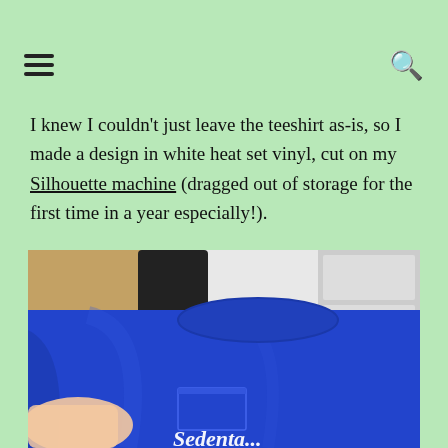☰  🔍
I knew I couldn't just leave the teeshirt as-is, so I made a design in white heat set vinyl, cut on my Silhouette machine (dragged out of storage for the first time in a year especially!).
[Figure (photo): A royal blue teeshirt being held up, showing a small chest pocket with white script text reading 'Sedenta...' (partially visible). Background shows a wooden dresser and white drawer.]